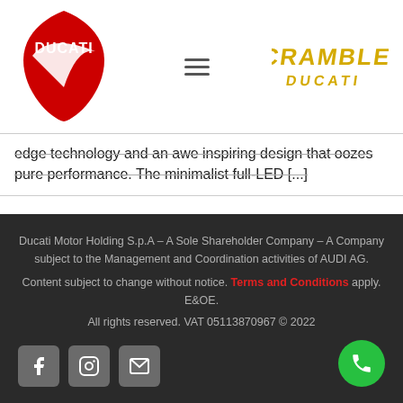[Figure (logo): Ducati red shield logo with DUCATI text in white]
[Figure (logo): Scrambler Ducati logo in yellow stylized text]
edge technology and an awe inspiring design that oozes pure performance. The minimalist full-LED [...]
Ducati Motor Holding S.p.A – A Sole Shareholder Company – A Company subject to the Management and Coordination activities of AUDI AG.
Content subject to change without notice. Terms and Conditions apply. E&OE.
All rights reserved. VAT 05113870967 © 2022